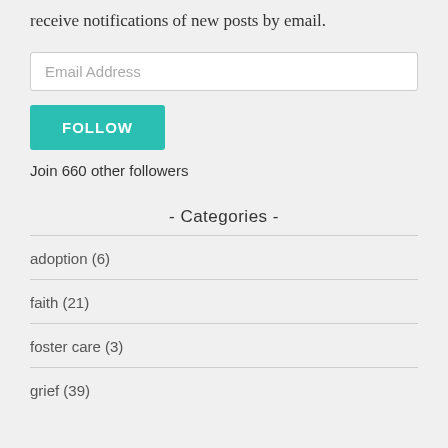receive notifications of new posts by email.
Email Address
FOLLOW
Join 660 other followers
- Categories -
adoption (6)
faith (21)
foster care (3)
grief (39)